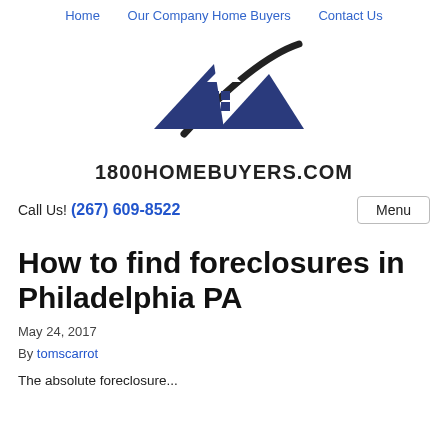Home   Our Company Home Buyers   Contact Us
[Figure (logo): 1800HOMEBUYERS.COM logo with house/roof icon and swoosh graphic]
Call Us! (267) 609-8522
How to find foreclosures in Philadelphia PA
May 24, 2017
By tomscarrot
The absolute foreclosure...